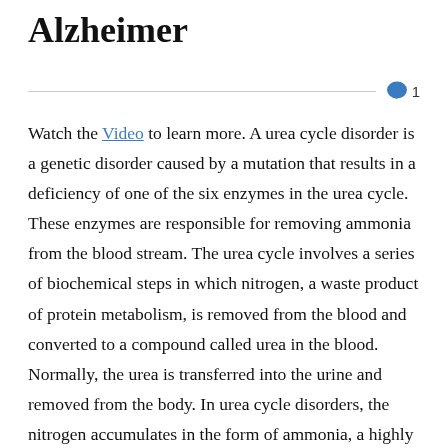Alzheimer
Watch the Video to learn more. A urea cycle disorder is a genetic disorder caused by a mutation that results in a deficiency of one of the six enzymes in the urea cycle. These enzymes are responsible for removing ammonia from the blood stream. The urea cycle involves a series of biochemical steps in which nitrogen, a waste product of protein metabolism, is removed from the blood and converted to a compound called urea in the blood. Normally, the urea is transferred into the urine and removed from the body. In urea cycle disorders, the nitrogen accumulates in the form of ammonia, a highly toxic